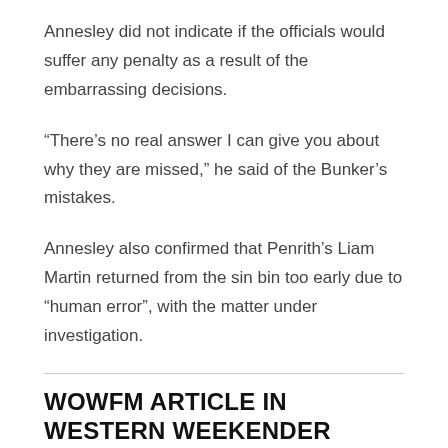Annesley did not indicate if the officials would suffer any penalty as a result of the embarrassing decisions.
“There’s no real answer I can give you about why they are missed,” he said of the Bunker’s mistakes.
Annesley also confirmed that Penrith’s Liam Martin returned from the sin bin too early due to “human error”, with the matter under investigation.
WOWFM ARTICLE IN WESTERN WEEKENDER